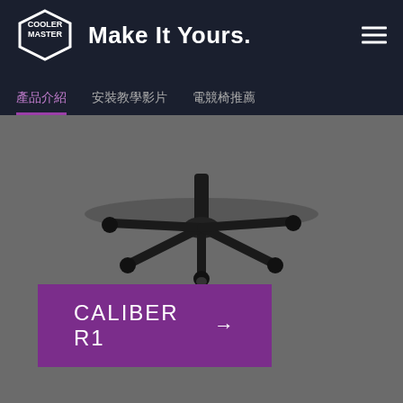[Figure (logo): Cooler Master logo - hexagonal badge with COOLER MASTER text]
Make It Yours.
產品介紹
安裝教學影片
電競椅推薦
[Figure (photo): Black gaming chair base with five caster wheels on grey background]
CALIBER R1 →